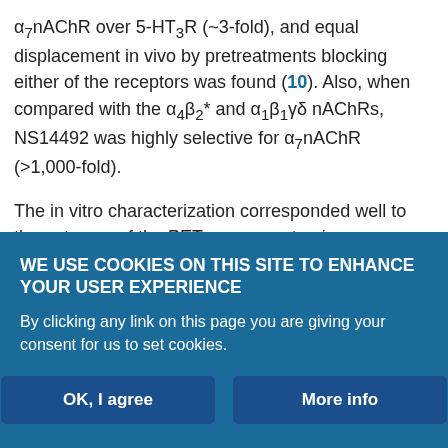α7nAChR over 5-HT3R (~3-fold), and equal displacement in vivo by pretreatments blocking either of the receptors was found (10). Also, when compared with the α4β2* and α1β1γδ nAChRs, NS14492 was highly selective for α7nAChR (>1,000-fold).
The in vitro characterization corresponded well to the outcome of the PET scans; systemic pretreatment with NS14492 or SSR180711 decreased VT, supporting the in vivo selectivity of 11C-NS14492 binding for α7nAChR. The decreases in 11C-NS14492 VT were found across all regions examined, including the cerebellum. This means—as expected—that the cerebellum is not appropriate as a reference region for α7nAChR quantification. In humans, the larger brain size
WE USE COOKIES ON THIS SITE TO ENHANCE YOUR USER EXPERIENCE
By clicking any link on this page you are giving your consent for us to set cookies.
OK, I agree
More info